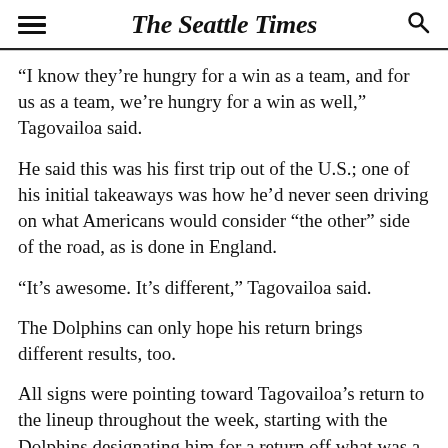The Seattle Times
“I know they’re hungry for a win as a team, and for us as a team, we’re hungry for a win as well,” Tagovailoa said.
He said this was his first trip out of the U.S.; one of his initial takeaways was how he’d never seen driving on what Americans would consider “the other” side of the road, as is done in England.
“It’s awesome. It’s different,” Tagovailoa said.
The Dolphins can only hope his return brings different results, too.
All signs were pointing toward Tagovailoa’s return to the lineup throughout the week, starting with the Dolphins designating him for a return off what was a